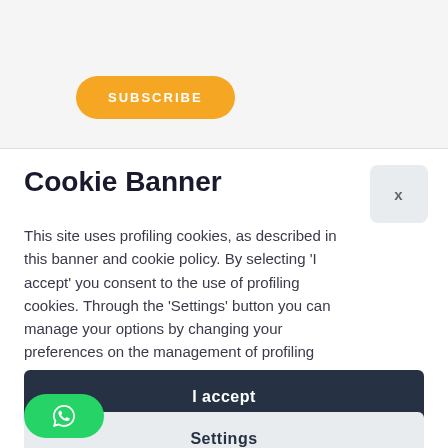SUBSCRIBE
Cookie Banner
This site uses profiling cookies, as described in this banner and cookie policy. By selecting 'I accept' you consent to the use of profiling cookies. Through the 'Settings' button you can manage your options by changing your preferences on the management of profiling cookies.
For more information please read our cookie policy.
I accept
Settings